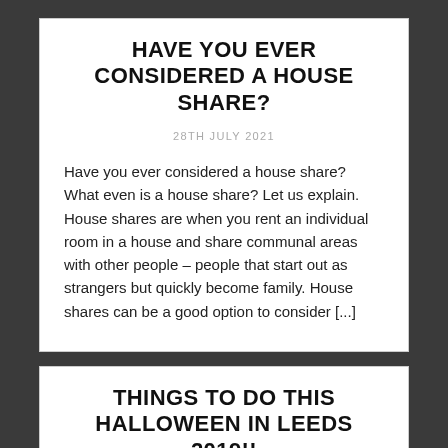HAVE YOU EVER CONSIDERED A HOUSE SHARE?
28TH JULY 2021
Have you ever considered a house share? What even is a house share? Let us explain. House shares are when you rent an individual room in a house and share communal areas with other people – people that start out as strangers but quickly become family. House shares can be a good option to consider [...]
THINGS TO DO THIS HALLOWEEN IN LEEDS 2019!!